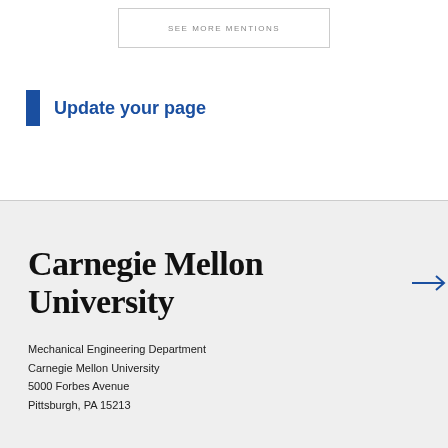SEE MORE MENTIONS
Update your page
[Figure (logo): Carnegie Mellon University wordmark with blue arrow]
Mechanical Engineering Department
Carnegie Mellon University
5000 Forbes Avenue
Pittsburgh, PA 15213